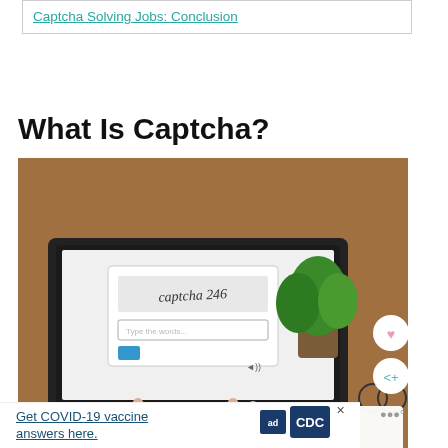Captcha Solving Jobs: Conclusion
What Is Captcha?
[Figure (photo): Person typing on a laptop keyboard with a CAPTCHA challenge visible on the screen showing 'captcha 246', with a potted plant in the background on a wooden desk. Overlaid UI elements include a heart/like button, a share button, and a 'WHAT'S NEXT' panel showing '100 Immediate Hire Work...']
Get COVID-19 vaccine answers here.
[Figure (logo): Ad Council and CDC logos]